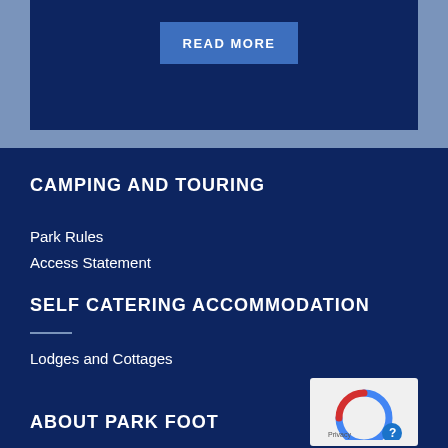[Figure (screenshot): READ MORE button on dark navy blue background banner]
CAMPING AND TOURING
Park Rules
Access Statement
SELF CATERING ACCOMMODATION
Lodges and Cottages
ABOUT PARK FOOT
[Figure (logo): reCAPTCHA privacy badge with circular arrow icon, Privacy text and help circle icon]